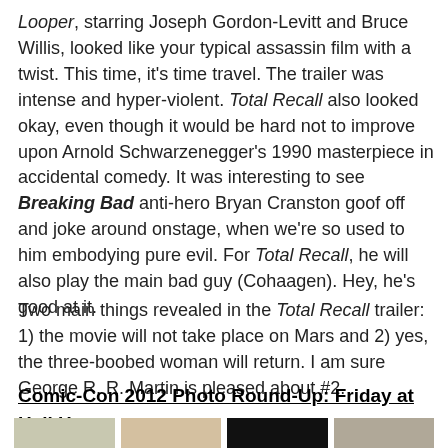Looper, starring Joseph Gordon-Levitt and Bruce Willis, looked like your typical assassin film with a twist. This time, it's time travel. The trailer was intense and hyper-violent. Total Recall also looked okay, even though it would be hard not to improve upon Arnold Schwarzenegger's 1990 masterpiece in accidental comedy. It was interesting to see Breaking Bad anti-hero Bryan Cranston goof off and joke around onstage, when we're so used to him embodying pure evil. For Total Recall, he will also play the main bad guy (Cohaagen). Hey, he's good at it.
Two main things revealed in the Total Recall trailer: 1) the movie will not take place on Mars and 2) yes, the three-boobed woman will return. I am sure George R. R. Martin is pleased about #2.
Comic-Con 2012 Photo Round-Up: Friday at Hall H
[Figure (photo): Four thumbnail photos from Comic-Con 2012 Friday at Hall H]